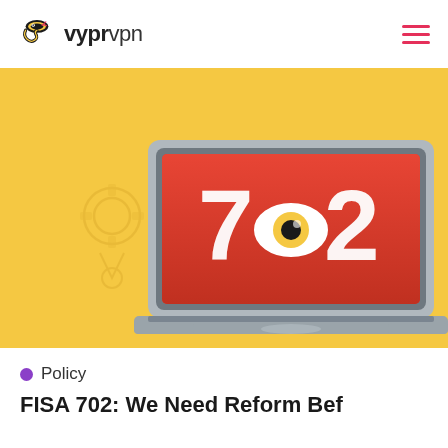vyprvpn
[Figure (illustration): Yellow banner with a laptop illustration on screen showing '702' text with an eye replacing the zero, flanked by faint outlines of a government building and a gear/medal icon on a yellow (#f5c842) background.]
Policy
FISA 702: We Need Reform Bef…